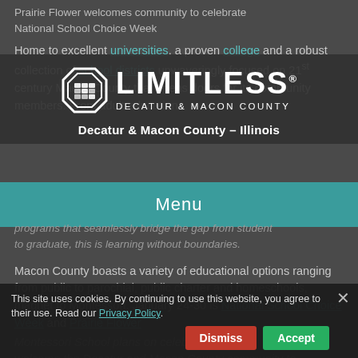Prairie Flower welcomes community to celebrate National School Choice Week
Home to excellent universities, a proven college and a robust collection of school districts unwaveringly focused on 21st century Macon County that opens doors for its community members. From adult education programs that seamlessly bridge the gap from student to graduate, this is learning without boundaries.
[Figure (logo): Limitless Decatur & Macon County logo with octagonal icon and text: LIMITLESS DECATUR & MACON COUNTY, tagline: Decatur & Macon County - Illinois]
Menu
Macon County boasts a variety of educational options ranging from public to parochial, public charter and homeschools, magnet to Montessori. January 24-30 is National School Choice Week and Prairie Flower Montessori School plans on celebrating. They welcome the Decatur and Macon County community to join them on Friday, January 29, 2016 at 9...
This site uses cookies. By continuing to use this website, you agree to their use. Read our Privacy Policy.